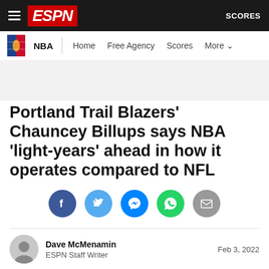ESPN — NBA | Home | Free Agency | Scores | More | SCORES
Portland Trail Blazers' Chauncey Billups says NBA 'light-years' ahead in how it operates compared to NFL
[Figure (infographic): Social share buttons: Facebook, Twitter, Messenger, WhatsApp, Email]
Dave McMenamin
ESPN Staff Writer
Feb 3, 2022